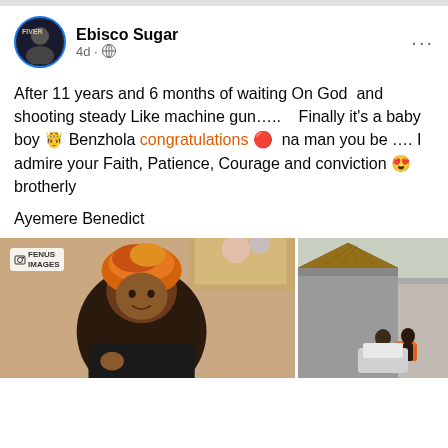Ebisco Sugar · 4d · Public
After 11 years and 6 months of waiting On God  and shooting steady Like machine gun…..   Finally it's a baby boy 🤴 Benzhola congratulations 🔴  na man you be …. I admire your Faith, Patience, Courage and conviction 😍 brotherly
Ayemere Benedict
[Figure (photo): Photo of a woman wearing a colorful orange headwrap/gele, dark top, smiling, with FENUS IMAGES watermark]
[Figure (photo): Outdoor photo showing a building with a thatched roof, with people and an orange chair visible]